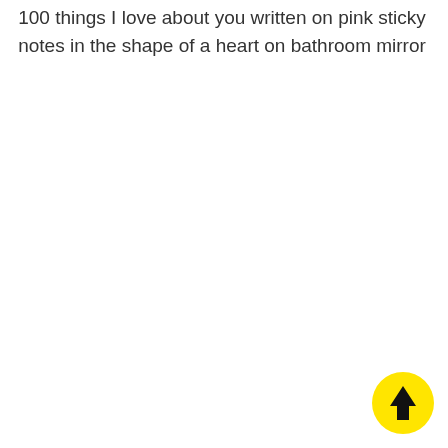100 things I love about you written on pink sticky notes in the shape of a heart on bathroom mirror
[Figure (illustration): Yellow circular button with a black upward-pointing arrow in the bottom-right corner of the page]